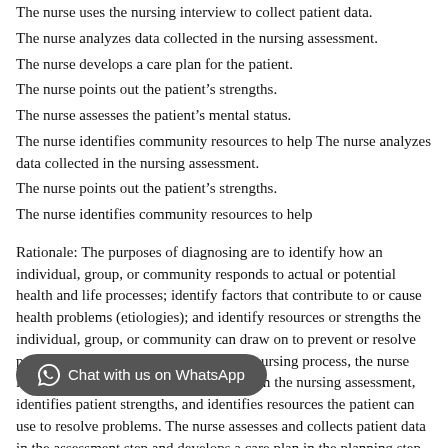The nurse uses the nursing interview to collect patient data.
The nurse analyzes data collected in the nursing assessment.
The nurse develops a care plan for the patient.
The nurse points out the patient’s strengths.
The nurse assesses the patient’s mental status.
The nurse identifies community resources to help The nurse analyzes data collected in the nursing assessment.
The nurse points out the patient’s strengths.
The nurse identifies community resources to help
Rationale: The purposes of diagnosing are to identify how an individual, group, or community responds to actual or potential health and life processes; identify factors that contribute to or cause health problems (etiologies); and identify resources or strengths the individual, group, or community can draw on to prevent or resolve problems. In the diagnosing step of the nursing process, the nurse interprets and analyzes data gathered from the nursing assessment, identifies patient strengths, and identifies resources the patient can use to resolve problems. The nurse assesses and collects patient data in the assessment step and develops a care plan in the planning step of the nursing process.A